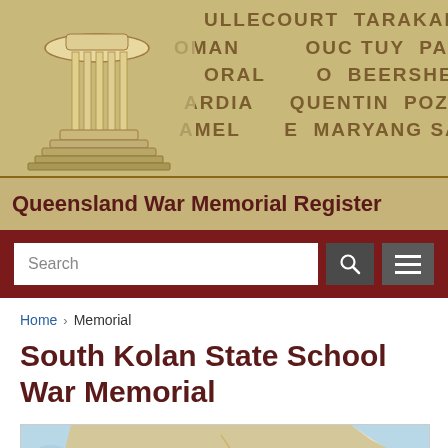[Figure (illustration): Queensland War Memorial Register website header with battle names background (Bullecourt, Tarakan, Gallipoli, Kokoda, etc.) and an illustrated memorial rotunda/building, with site title bar reading Queensland War Memorial Register]
Search
Home > Memorial
South Kolan State School War Memorial
[Figure (map): Map showing the region around Bundaberg Central and Bargara, Queensland, with a location pin marker]